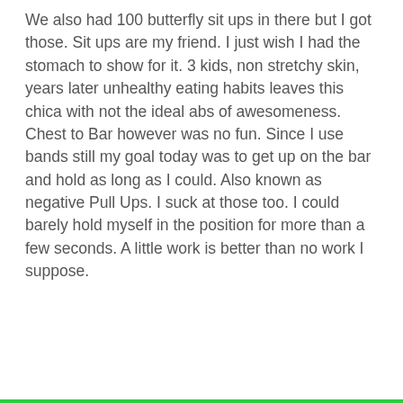We also had 100 butterfly sit ups in there but I got those. Sit ups are my friend. I just wish I had the stomach to show for it. 3 kids, non stretchy skin, years later unhealthy eating habits leaves this chica with not the ideal abs of awesomeness. Chest to Bar however was no fun. Since I use bands still my goal today was to get up on the bar and hold as long as I could. Also known as negative Pull Ups. I suck at those too. I could barely hold myself in the position for more than a few seconds. A little work is better than no work I suppose.
Privacy & Cookies: This site uses cookies. By continuing to use this website, you agree to their use. To find out more, including how to control cookies, see here: Cookie Policy
Close and accept